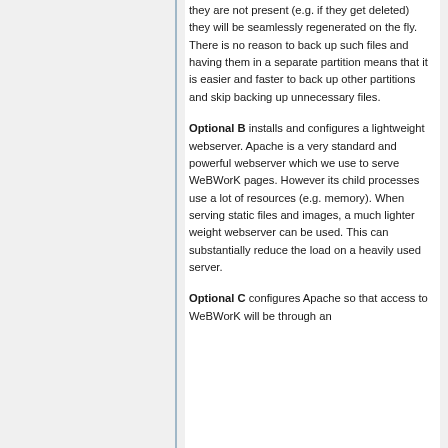they are not present (e.g. if they get deleted) they will be seamlessly regenerated on the fly. There is no reason to back up such files and having them in a separate partition means that it is easier and faster to back up other partitions and skip backing up unnecessary files.
Optional B installs and configures a lightweight webserver. Apache is a very standard and powerful webserver which we use to serve WeBWorK pages. However its child processes use a lot of resources (e.g. memory). When serving static files and images, a much lighter weight webserver can be used. This can substantially reduce the load on a heavily used server.
Optional C configures Apache so that access to WeBWorK will be through an